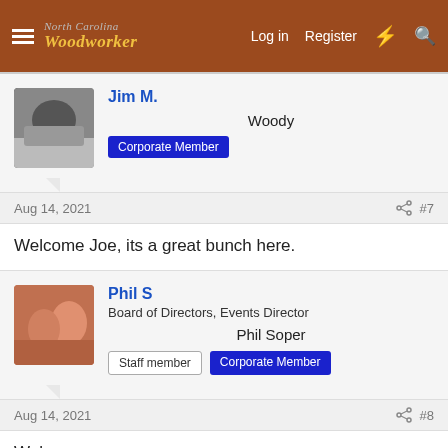North Carolina Woodworker — Log in | Register
Jim M. — Woody — Corporate Member
Aug 14, 2021 — #7
Welcome Joe, its a great bunch here.
Phil S — Board of Directors, Events Director — Phil Soper — Staff member | Corporate Member
Aug 14, 2021 — #8
Welcome